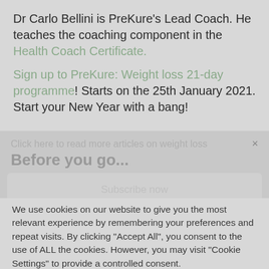Dr Carlo Bellini is PreKure's Lead Coach. He teaches the coaching component in the Health Coach Certificate.
Sign up to PreKure: Weight loss 21-day programme! Starts on the 25th January 2021. Start your New Year with a bang!
Click here to read more articles on weight loss
Before you go...
Subscribe now
We use cookies on our website to give you the most relevant experience by remembering your preferences and repeat visits. By clicking "Accept All", you consent to the use of ALL the cookies. However, you may visit "Cookie Settings" to provide a controlled consent.
Cookie Settings
Accept All